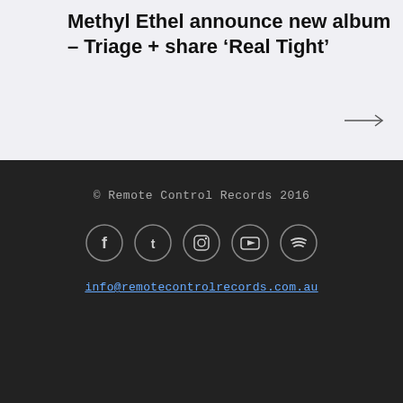Methyl Ethel announce new album – Triage + share ‘Real Tight’
[Figure (illustration): Arrow pointing right (→)]
© Remote Control Records 2016
[Figure (illustration): Social media icons: Facebook, Twitter, Instagram, YouTube, Spotify]
info@remotecontrolrecords.com.au